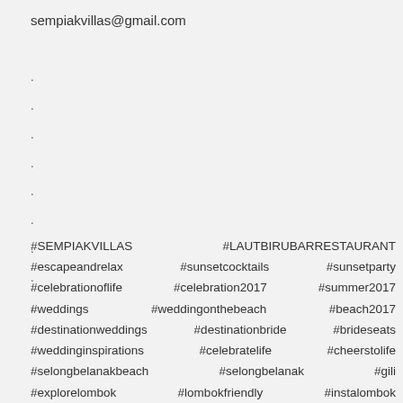sempiakvillas@gmail.com
.
.
.
.
.
.
.
.
.
#SEMPIAKVILLAS  #LAUTBIRUBARRESTAURANT
#escapeandrelax  #sunsetcocktails  #sunsetparty
#celebrationoflife  #celebration2017  #summer2017
#weddings  #weddingonthebeach  #beach2017
#destinationweddings  #destinationbride  #brideseats
#weddinginspirations  #celebratelife  #cheerstolife
#selongbelanakbeach  #selongbelanak  #gili
#explorelombok  #lombokfriendly  #instalombok